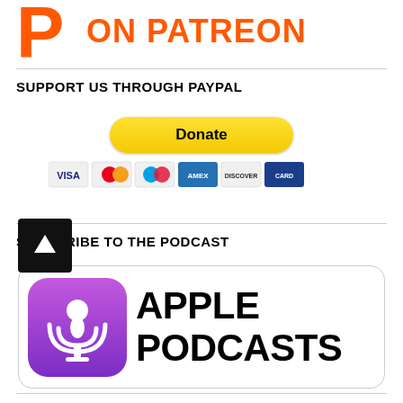[Figure (logo): Patreon logo partial (P icon) with ON PATREON text in orange]
SUPPORT US THROUGH PAYPAL
[Figure (other): PayPal Donate button with credit card icons (Visa, Mastercard, Maestro, Amex, Discover)]
SUBSCRIBE TO THE PODCAST
[Figure (logo): Apple Podcasts badge with purple podcast icon and APPLE PODCASTS text in bold black]